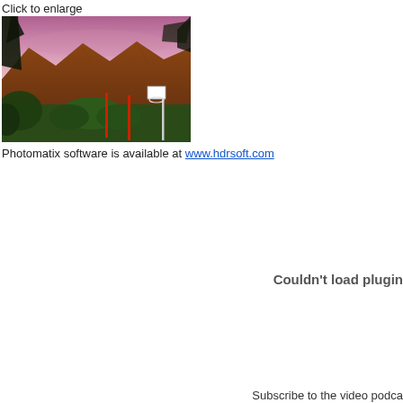Click to enlarge
[Figure (photo): HDR landscape photo showing mountains with a pink/purple sunset sky, palm trees and foliage in the foreground, and a basketball hoop visible on the right side.]
Photomatix software is available at www.hdrsoft.com
Couldn't load plugin
Subscribe to the video podca